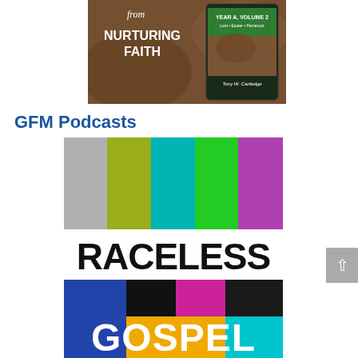[Figure (illustration): Book cover for 'Nurturing Faith' Year A Volume 2 by Tony W. Cartledge, showing Lent, Easter, Pentecost themes, with a digital tablet display alongside a physical book on a rocky background.]
GFM Podcasts
[Figure (logo): Raceless Gospel podcast logo. Top half shows five vertical color bars (gray, olive/yellow-green, teal/cyan, bright green, purple) on white background with 'RACELESS' in large bold black text below. Bottom half shows a colorful grid of squares (blue, black, magenta/purple, dark, teal) with 'GOSPEL' in large bold white text on a golden-yellow background.]